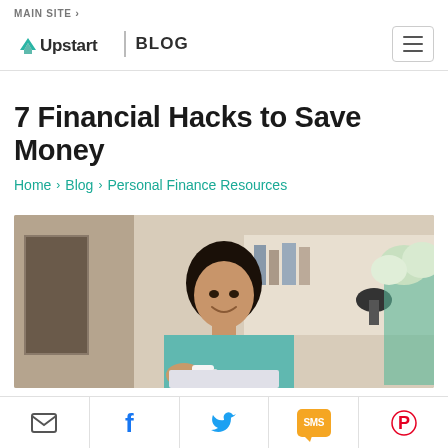MAIN SITE >
Upstart | BLOG
7 Financial Hacks to Save Money
Home > Blog > Personal Finance Resources
[Figure (photo): Woman smiling while looking at a laptop, holding a coffee mug, with flowers visible in the background]
Email | Facebook | Twitter | SMS | Pinterest share buttons